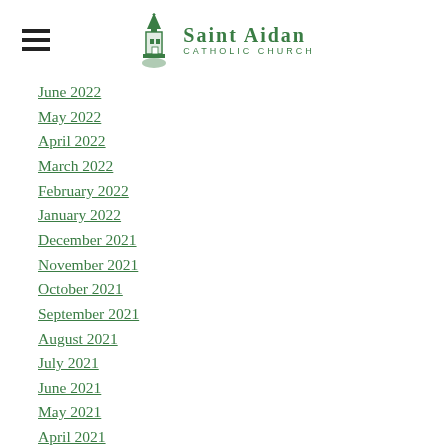Saint Aidan Catholic Church
June 2022
May 2022
April 2022
March 2022
February 2022
January 2022
December 2021
November 2021
October 2021
September 2021
August 2021
July 2021
June 2021
May 2021
April 2021
March 2021
February 2021
January 2021
December 2020
November 2020
October 2020
September 2020
August 2020